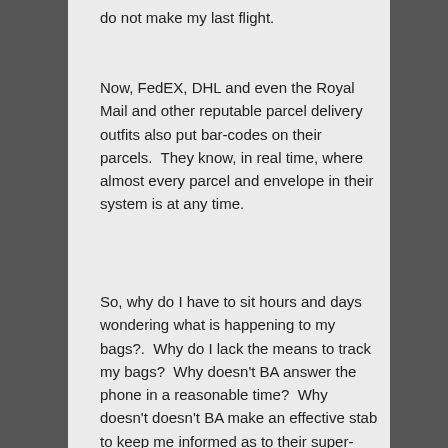do not make my last flight.
Now, FedEX, DHL and even the Royal Mail and other reputable parcel delivery outfits also put bar-codes on their parcels.  They know, in real time, where almost every parcel and envelope in their system is at any time.
So, why do I have to sit hours and days wondering what is happening to my bags?.  Why do I lack the means to track my bags?  Why doesn't BA answer the phone in a reasonable time?  Why doesn't doesn't BA make an effective stab to keep me informed as to their super-human efforts to get my bags to me? Why do I have to wait up to x days for my bags to arrive...